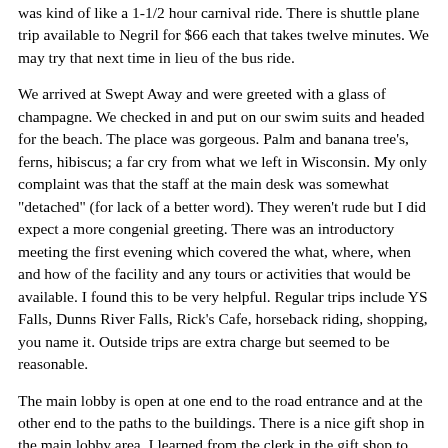was kind of like a 1-1/2 hour carnival ride. There is shuttle plane trip available to Negril for $66 each that takes twelve minutes. We may try that next time in lieu of the bus ride.
We arrived at Swept Away and were greeted with a glass of champagne. We checked in and put on our swim suits and headed for the beach. The place was gorgeous. Palm and banana tree's, ferns, hibiscus; a far cry from what we left in Wisconsin. My only complaint was that the staff at the main desk was somewhat "detached" (for lack of a better word). They weren't rude but I did expect a more congenial greeting. There was an introductory meeting the first evening which covered the what, where, when and how of the facility and any tours or activities that would be available. I found this to be very helpful. Regular trips include YS Falls, Dunns River Falls, Rick's Cafe, horseback riding, shopping, you name it. Outside trips are extra charge but seemed to be reasonable.
The main lobby is open at one end to the road entrance and at the other end to the paths to the buildings. There is a nice gift shop in the main lobby area. I learned from the clerk in the gift shop to bring small bills on my next visit. Seems that they never have enough change, so if you use a $20 or $50 bill you will get change in Jamaican. Next time I am bringing more $1 and $5 bills. I suggest $100 in $1's, $100 in $5's and if you think you need more bring the balance in $10's. We spent about $200 on gifts and